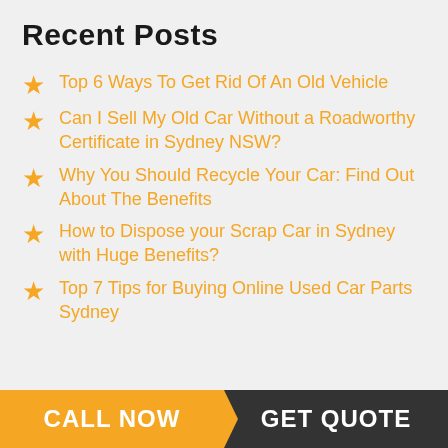Recent Posts
Top 6 Ways To Get Rid Of An Old Vehicle
Can I Sell My Old Car Without a Roadworthy Certificate in Sydney NSW?
Why You Should Recycle Your Car: Find Out About The Benefits
How to Dispose your Scrap Car in Sydney with Huge Benefits?
Top 7 Tips for Buying Online Used Car Parts Sydney
CALL NOW   GET QUOTE